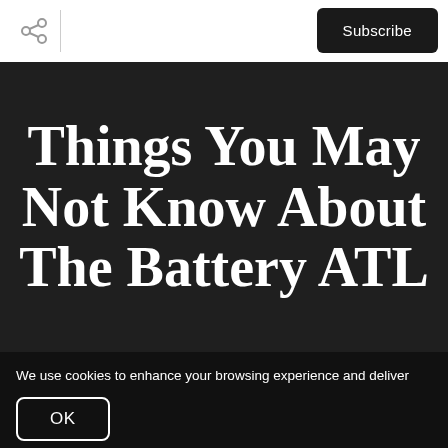[Figure (other): Share icon (three connected dots) on white navigation bar]
Subscribe
Things You May Not Know About The Battery ATL
We use cookies to enhance your browsing experience and deliver our services. By continuing to visit this site, you agree to our use of cookies. More info
OK